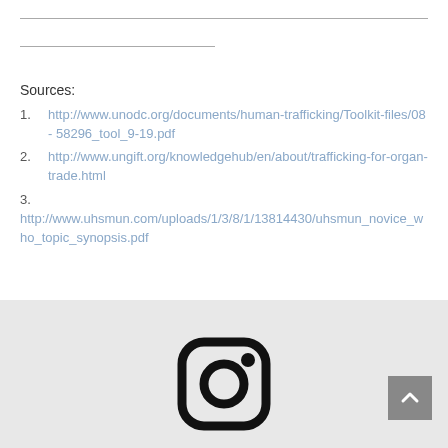Sources:
1.    http://www.unodc.org/documents/human-trafficking/Toolkit-files/08- 58296_tool_9-19.pdf
2.    http://www.ungift.org/knowledgehub/en/about/trafficking-for-organ-trade.html
3.
http://www.uhsmun.com/uploads/1/3/8/1/13814430/uhsmun_novice_who_topic_synopsis.pdf
[Figure (illustration): Instagram icon (camera outline) and a back-to-top button in grey at bottom right, on a light grey footer background.]